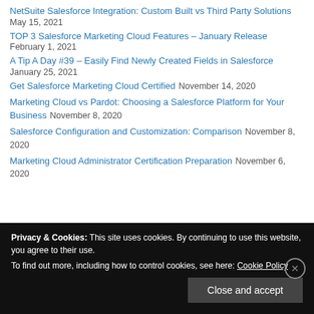NetSuite Salesforce Integration: Custom Built vs Third Party Solutions May 15, 2021
TOP 3 Salesforce Marketing Cloud Features – January Release February 1, 2021
A Tip A Day #39 – Easily Find Newly Created Fields in Salesforce January 25, 2021
Get Salesforce Marketing Cloud Certified November 14, 2020
Marketing Cloud vs Pardot: Choosing a Salesforce Platform for Your Business November 8, 2020
Salesforce Configuration and Customization: Comparison November 8, 2020
Marketing Cloud Administrator Certification Preparation November 6, 2020
Privacy & Cookies: This site uses cookies. By continuing to use this website, you agree to their use. To find out more, including how to control cookies, see here: Cookie Policy
Close and accept